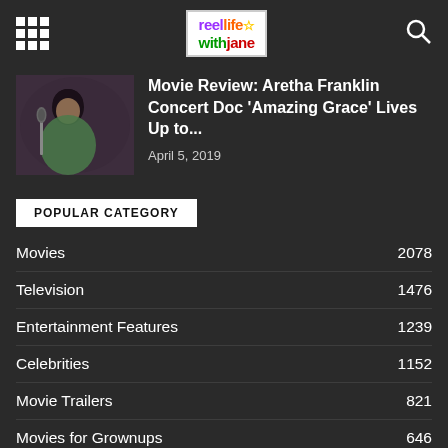reel life with jane — navigation header with grid icon, logo, and search icon
Movie Review: Aretha Franklin Concert Doc 'Amazing Grace' Lives Up to...
April 5, 2019
POPULAR CATEGORY
Movies 2078
Television 1476
Entertainment Features 1239
Celebrities 1152
Movie Trailers 821
Movies for Grownups 646
Awards 544